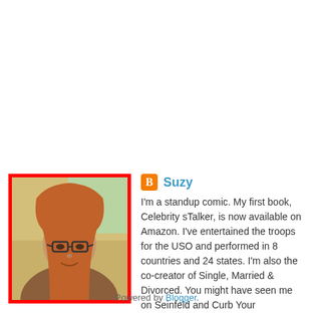[Figure (photo): Profile photo of Suzy, a woman with long hair and glasses, with a red border frame]
Suzy
I'm a standup comic. My first book, Celebrity sTalker, is now available on Amazon. I've entertained the troops for the USO and performed in 8 countries and 24 states. I'm also the co-creator of Single, Married & Divorced. You might have seen me on Seinfeld and Curb Your Enthusiasm.
View my complete profile
Powered by Blogger.